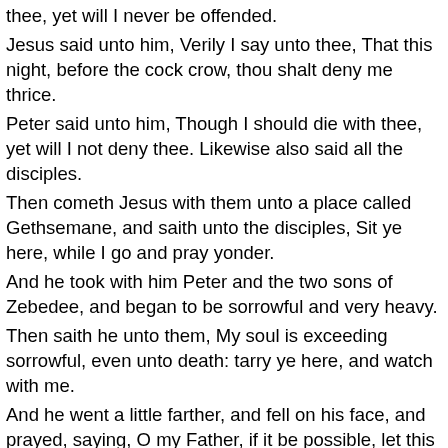thee, yet will I never be offended.
Jesus said unto him, Verily I say unto thee, That this night, before the cock crow, thou shalt deny me thrice.
Peter said unto him, Though I should die with thee, yet will I not deny thee. Likewise also said all the disciples.
Then cometh Jesus with them unto a place called Gethsemane, and saith unto the disciples, Sit ye here, while I go and pray yonder.
And he took with him Peter and the two sons of Zebedee, and began to be sorrowful and very heavy.
Then saith he unto them, My soul is exceeding sorrowful, even unto death: tarry ye here, and watch with me.
And he went a little farther, and fell on his face, and prayed, saying, O my Father, if it be possible, let this cup pass from me: nevertheless not as I will, but as thou wilt.
And he cometh unto the disciples, and findeth them asleep, and saith unto Peter,
What, could ye not watch with me one hour?
Watch and pray, that ye enter not into temptation: the spirit indeed is willing, but the flesh is weak.
He went away again the second time, and prayed, saying, O my Father, if this cup may not pass away from me, except I drink it, thy will be done.
And he came and found them asleep again: for their eyes were heavy.
And he left them, and went away again, and prayed the third time,